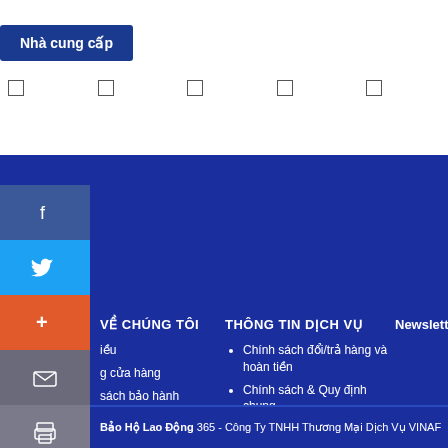Nhà cung cấp
VỀ CHÚNG TÔI
THÔNG TIN DỊCH VỤ
Newsletter
Chính sách đổi/trả hàng và hoàn tiền
Chính sách & Quy định chung
Chính sách bảo mật thông tin
Chính sách vận chuyển, giao nhận
iều
g cửa hàng
sách bảo hành
thức thanh toán
Bảo Hộ Lao Động 365 - Công Ty TNHH Thương Mại Dịch Vụ VINAF